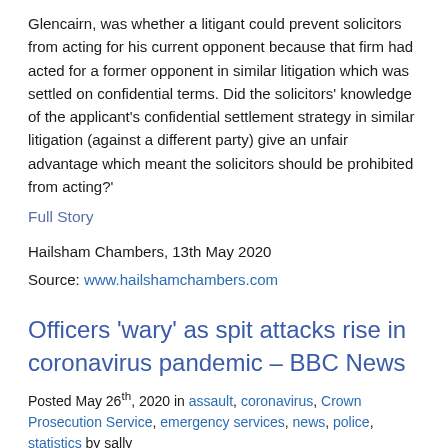Glencairn, was whether a litigant could prevent solicitors from acting for his current opponent because that firm had acted for a former opponent in similar litigation which was settled on confidential terms. Did the solicitors' knowledge of the applicant's confidential settlement strategy in similar litigation (against a different party) give an unfair advantage which meant the solicitors should be prohibited from acting?'
Full Story
Hailsham Chambers, 13th May 2020
Source: www.hailshamchambers.com
Officers 'wary' as spit attacks rise in coronavirus pandemic – BBC News
Posted May 26th, 2020 in assault, coronavirus, Crown Prosecution Service, emergency services, news, police, statistics by sally